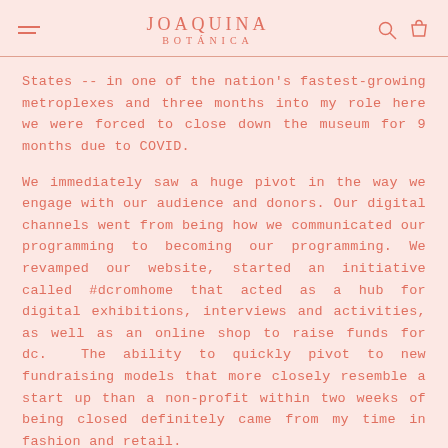JOAQUINA BOTANICA
States -- in one of the nation's fastest-growing metroplexes and three months into my role here we were forced to close down the museum for 9 months due to COVID.
We immediately saw a huge pivot in the way we engage with our audience and donors. Our digital channels went from being how we communicated our programming to becoming our programming. We revamped our website, started an initiative called #dcromhome that acted as a hub for digital exhibitions, interviews and activities, as well as an online shop to raise funds for dc.  The ability to quickly pivot to new fundraising models that more closely resemble a start up than a non-profit within two weeks of being closed definitely came from my time in fashion and retail.